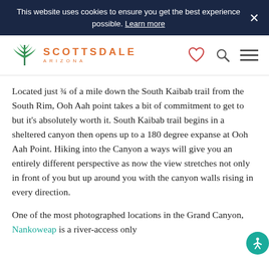This website uses cookies to ensure you get the best experience possible. Learn more
[Figure (logo): Scottsdale Arizona logo with agave plant icon in teal/green and text SCOTTSDALE ARIZONA in orange]
Located just ¾ of a mile down the South Kaibab trail from the South Rim, Ooh Aah point takes a bit of commitment to get to but it's absolutely worth it. South Kaibab trail begins in a sheltered canyon then opens up to a 180 degree expanse at Ooh Aah Point. Hiking into the Canyon a ways will give you an entirely different perspective as now the view stretches not only in front of you but up around you with the canyon walls rising in every direction.
One of the most photographed locations in the Grand Canyon, Nankoweap is a river-access only